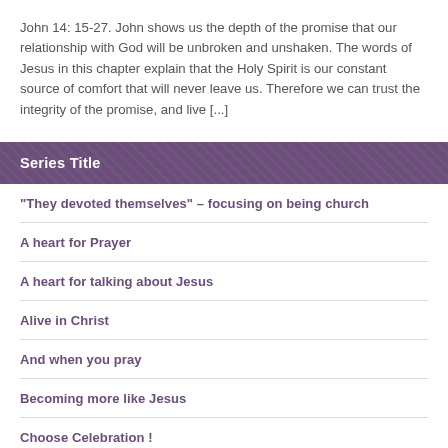John 14: 15-27. John shows us the depth of the promise that our relationship with God will be unbroken and unshaken. The words of Jesus in this chapter explain that the Holy Spirit is our constant source of comfort that will never leave us. Therefore we can trust the integrity of the promise, and live [...]
Series Title
"They devoted themselves" – focusing on being church
A heart for Prayer
A heart for talking about Jesus
Alive in Christ
And when you pray
Becoming more like Jesus
Choose Celebration !